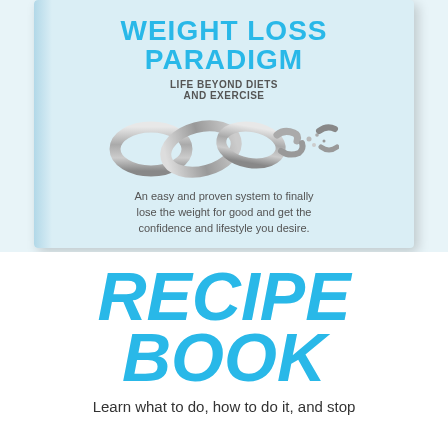[Figure (illustration): Book cover for 'Weight Loss Paradigm: Life Beyond Diets and Exercise' with a breaking chain illustration on a light blue background]
WEIGHT LOSS PARADIGM
LIFE BEYOND DIETS AND EXERCISE
An easy and proven system to finally lose the weight for good and get the confidence and lifestyle you desire.
RECIPE BOOK
Learn what to do, how to do it, and stop